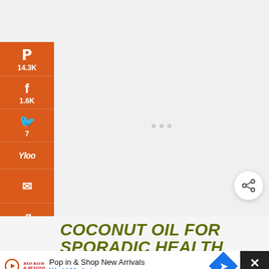[Figure (screenshot): Social media sharing sidebar with orange background showing Pinterest (14.3K), Facebook (1.6K), Twitter (7), Yahoo, Email, and Print buttons]
[Figure (infographic): Main article content area (blank/loading) with a circular share button in bottom right]
COCONUT OIL FOR SPORADIC HEALTH ISSUES, SKIN PROBLEMS
15.8K SHARES
[Figure (screenshot): Advertisement banner: Pop in & Shop New Arrivals - World Market]